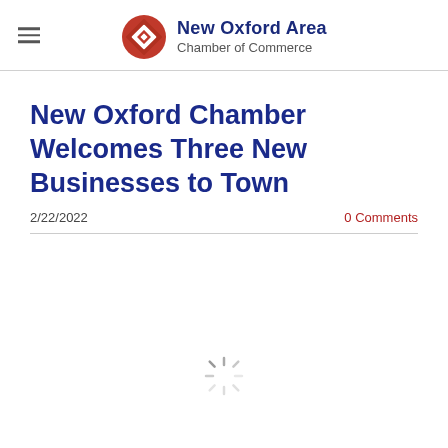New Oxford Area Chamber of Commerce
New Oxford Chamber Welcomes Three New Businesses to Town
2/22/2022
0 Comments
[Figure (other): Loading spinner icon indicating content is being loaded]